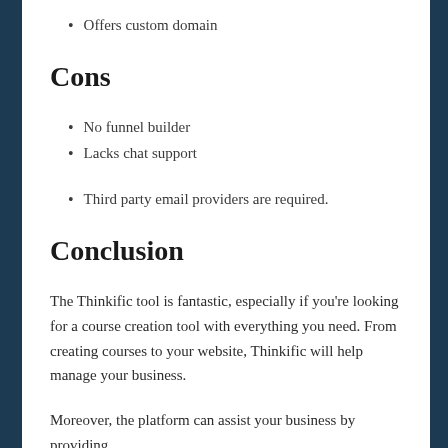Offers custom domain
Cons
No funnel builder
Lacks chat support
Third party email providers are required.
Conclusion
The Thinkific tool is fantastic, especially if you're looking for a course creation tool with everything you need. From creating courses to your website, Thinkific will help manage your business.
Moreover, the platform can assist your business by providing